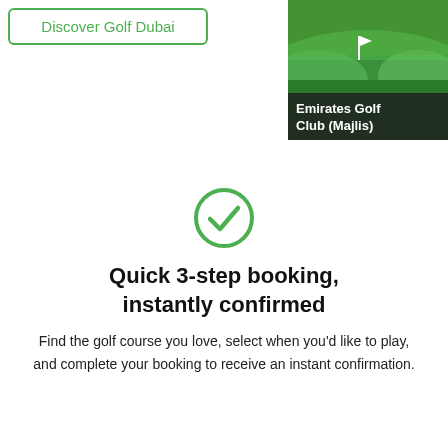Discover Golf Dubai
[Figure (photo): Golf course image showing green fairway with flag, with dark overlay and text 'Emirates Golf Club (Majlis)']
[Figure (other): Green circle checkmark icon]
Quick 3-step booking, instantly confirmed
Find the golf course you love, select when you'd like to play, and complete your booking to receive an instant confirmation.